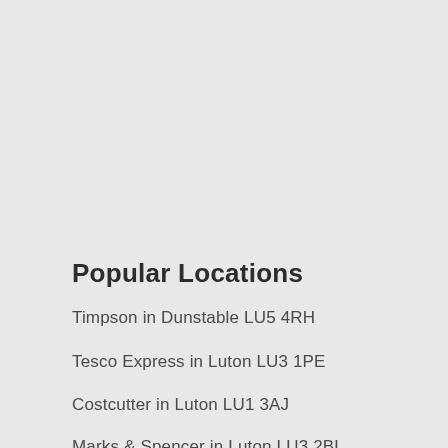Popular Locations
Timpson in Dunstable LU5 4RH
Tesco Express in Luton LU3 1PE
Costcutter in Luton LU1 3AJ
Marks & Spencer in Luton LU3 2BL
Shop 2 in Luton LU1 0TE